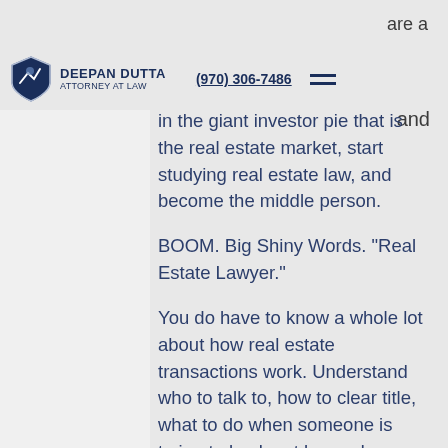are a
[Figure (logo): Deepan Dutta Attorney at Law shield logo with mountain graphic, name, phone number (970) 306-7486, and hamburger menu icon]
and in the giant investor pie that is the real estate market, start studying real estate law, and become the middle person.

BOOM. Big Shiny Words. "Real Estate Lawyer."

You do have to know a whole lot about how real estate transactions work. Understand who to talk to, how to clear title, what to do when someone is trying to back out beyond a certain deadline that got shifted a few times. Then there's all these formulas to throw in to